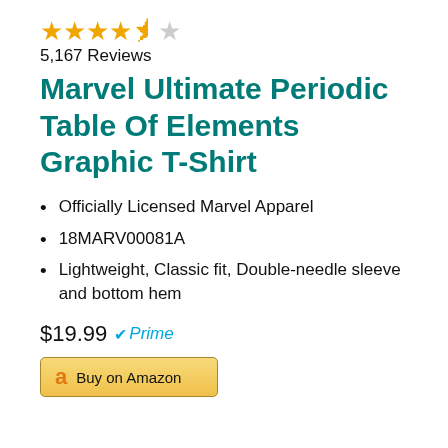[Figure (other): Star rating: 4.5 out of 5 stars (4 full stars, 1 half star, 1 empty star)]
5,167 Reviews
Marvel Ultimate Periodic Table Of Elements Graphic T-Shirt
Officially Licensed Marvel Apparel
18MARV00081A
Lightweight, Classic fit, Double-needle sleeve and bottom hem
$19.99 Prime
[Figure (other): Buy on Amazon button with Amazon logo]